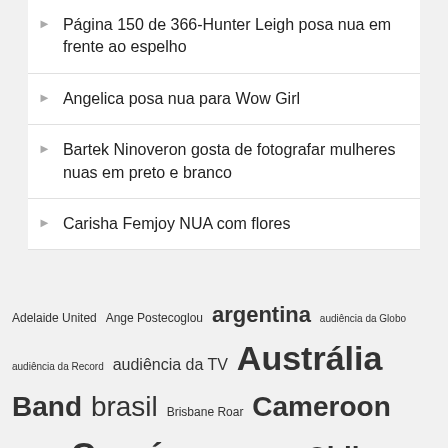Página 150 de 366-Hunter Leigh posa nua em frente ao espelho
Angelica posa nua para Wow Girl
Bartek Ninoveron gosta de fotografar mulheres nuas em preto e branco
Carisha Femjoy NUA com flores
Adelaide United Ange Postecoglou argentina audiência da Globo audiência da Record audiência da TV Austrália Band brasil Brisbane Roar Cameroon Canberra Ceará Central Coast Mariners Chile China comercial lipomax comercial nutrilipo Copa do Mundo